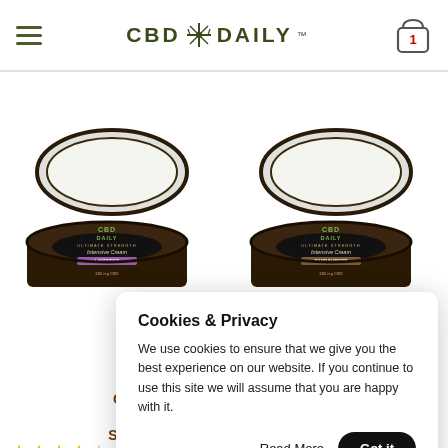CBD Daily (logo with hamburger menu and cart icon showing 1 item)
[Figure (photo): Two open CBD Daily Ultimate Strength Intensive Cream jars (600mg CBD) side by side — left jar labeled Lavender, right jar labeled Sandalwood]
CBD Daily Intensive Cream Ultimate Strength Lavender 600 mg
★★★★☆
$44.99
Cookies & Privacy
We use cookies to ensure that we give you the best experience on our website. If you continue to use this site we will assume that you are happy with it.
Read More
Got it